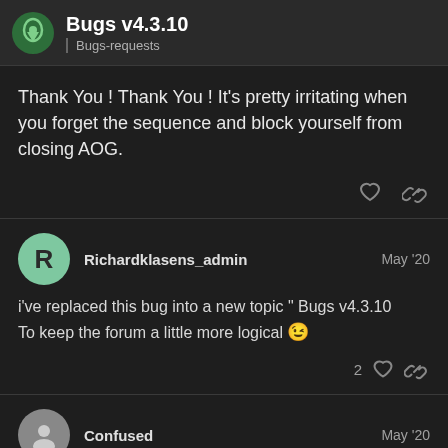Bugs v4.3.10 | Bugs-requests
Thank You ! Thank You ! It's pretty irritating when you forget the sequence and block yourself from closing AOG.
Richardklasens_admin  May '20
i've replaced this bug into a new topic " Bugs v4.3.10
To keep the forum a little more logical 😉
Confused  May '20
The light bar offline reading is in centimete